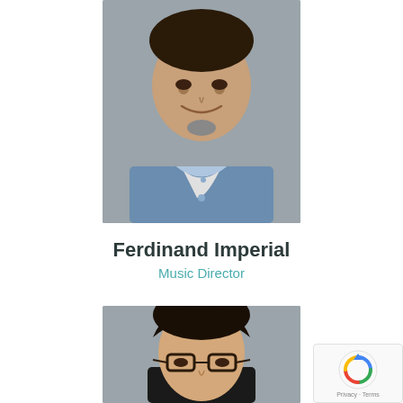[Figure (photo): Headshot photo of Ferdinand Imperial, a middle-aged man with salt-and-pepper goatee wearing a blue chambray shirt, photographed against a grey background]
Ferdinand Imperial
Music Director
[Figure (photo): Headshot photo of a young man with dark hair styled back, wearing glasses and a dark top, photographed against a grey background]
[Figure (other): reCAPTCHA badge with circular arrow icon and Privacy - Terms text]